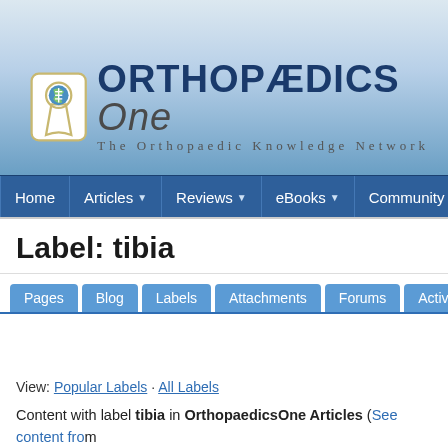[Figure (logo): OrthopaedicsOne logo - keyhole icon with The Orthopaedic Knowledge Network tagline]
Home | Articles | Reviews | eBooks | Community | Pages
Label: tibia
Pages | Blog | Labels | Attachments | Forums | Activity | Advanced
View: Popular Labels · All Labels
Content with label tibia in OrthopaedicsOne Articles (See content from Related Labels: ankle, osteoarthritis, posteromedial_bowing, knee, pedia... fibula, femur, patella, malleolus, lower_extremity, arthritis, 2008, radiolog...